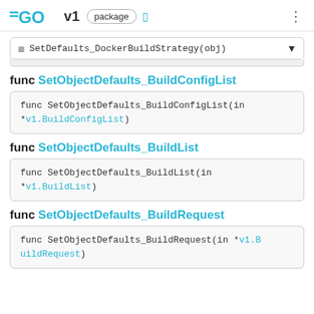GO v1 package
≡ SetDefaults_DockerBuildStrategy(obj)
func SetObjectDefaults_BuildConfigList
func SetObjectDefaults_BuildConfigList(in *v1.BuildConfigList)
func SetObjectDefaults_BuildList
func SetObjectDefaults_BuildList(in *v1.BuildList)
func SetObjectDefaults_BuildRequest
func SetObjectDefaults_BuildRequest(in *v1.BuildRequest)